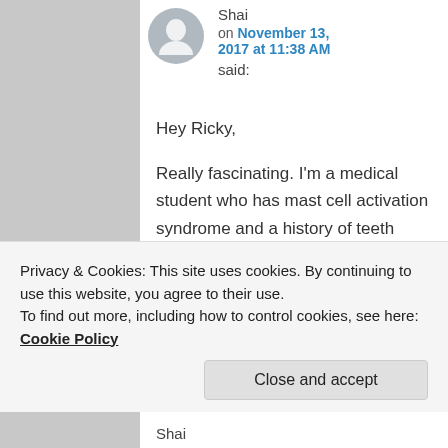Shai
on November 13, 2017 at 11:38 AM
said:
Hey Ricky,
Really fascinating. I'm a medical student who has mast cell activation syndrome and a history of teeth extraction, retractive headgear and impacted wisdom teeth.
Privacy & Cookies: This site uses cookies. By continuing to use this website, you agree to their use.
To find out more, including how to control cookies, see here: Cookie Policy
Close and accept
Shai